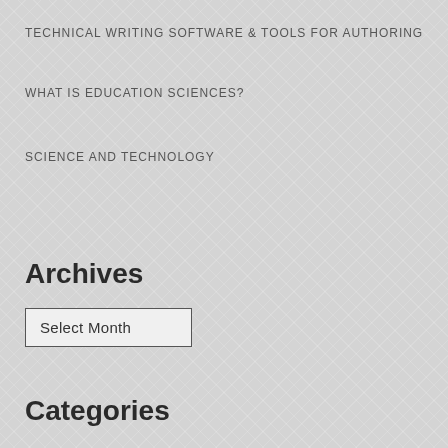TECHNICAL WRITING SOFTWARE & TOOLS FOR AUTHORING
WHAT IS EDUCATION SCIENCES?
SCIENCE AND TECHNOLOGY
Archives
Select Month
Categories